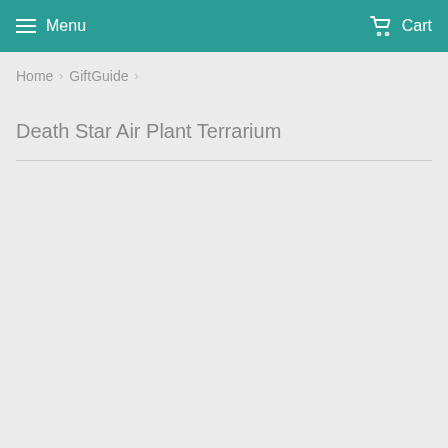Menu  Cart
Home › GiftGuide ›
Death Star Air Plant Terrarium